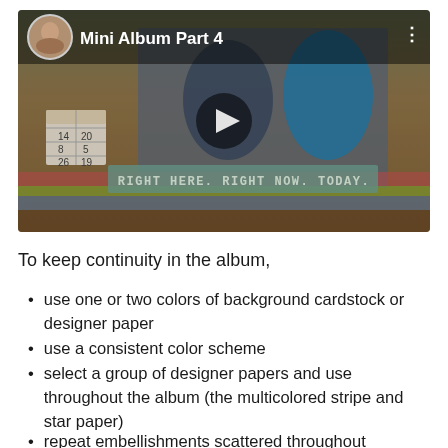[Figure (screenshot): Video thumbnail for 'Mini Album Part 4' showing a scrapbook layout with two people, a play button overlay, and decorative paper elements with text 'RIGHT HERE. RIGHT NOW. TODAY.']
To keep continuity in the album,
use one or two colors of background cardstock or designer paper
use a consistent color scheme
select a group of designer papers and use throughout the album (the multicolored stripe and star paper)
repeat embellishments scattered throughout